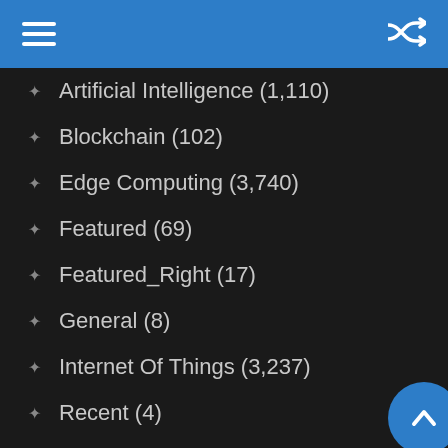Navigation menu header with hamburger and shuffle icons
Artificial Intelligence (1,110)
Blockchain (102)
Edge Computing (3,740)
Featured (69)
Featured_Right (17)
General (8)
Internet Of Things (3,237)
Recent (4)
Security (681)
Trending (10)